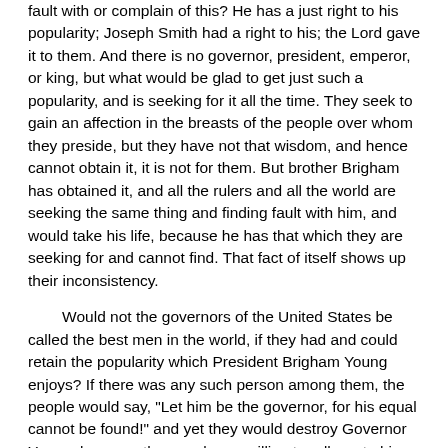fault with or complain of this? He has a just right to his popularity; Joseph Smith had a right to his; the Lord gave it to them. And there is no governor, president, emperor, or king, but what would be glad to get just such a popularity, and is seeking for it all the time. They seek to gain an affection in the breasts of the people over whom they preside, but they have not that wisdom, and hence cannot obtain it, it is not for them. But brother Brigham has obtained it, and all the rulers and all the world are seeking the same thing and finding fault with him, and would take his life, because he has that which they are seeking for and cannot find. That fact of itself shows up their inconsistency.
Would not the governors of the United States be called the best men in the world, if they had and could retain the popularity which President Brigham Young enjoys? If there was any such person among them, the people would say, "Let him be the governor, for his equal cannot be found!" and yet they would destroy Governor Young, because the people are willing to adhere to his counsel. They are afraid of the union of Church and State, this they dread very much. Any person would like to have all the popularity that brother Brigham has, but the people of the world are afraid to trust any of their men with the affairs of the nation, especially if the person happened to be a preacher, for